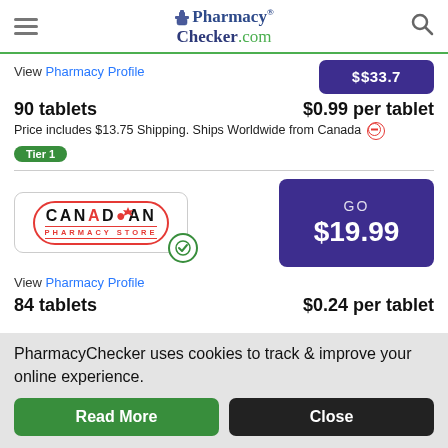PharmacyChecker.com
View Pharmacy Profile
90 tablets   $0.99 per tablet
Price includes $13.75 Shipping. Ships Worldwide from Canada
Tier 1
[Figure (logo): Canadian Pharmacy Store logo with maple leaf and green checkmark badge, GO button with $19.99]
View Pharmacy Profile
84 tablets   $0.24 per tablet
PharmacyChecker uses cookies to track & improve your online experience.
Read More
Close